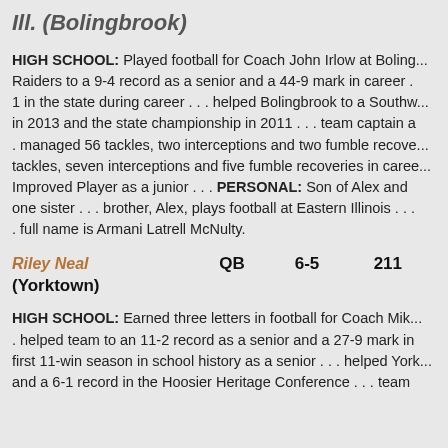Ill. (Bolingbrook)
HIGH SCHOOL: Played football for Coach John Irlow at Boling... Raiders to a 9-4 record as a senior and a 44-9 mark in career . . . 1 in the state during career . . . helped Bolingbrook to a Southw... in 2013 and the state championship in 2011 . . . team captain a . . . managed 56 tackles, two interceptions and two fumble recove... tackles, seven interceptions and five fumble recoveries in caree... Improved Player as a junior . . . PERSONAL: Son of Alex and one sister . . . brother, Alex, plays football at Eastern Illinois . . . . full name is Armani Latrell McNulty.
Riley Neal  QB  6-5  211 (Yorktown)
HIGH SCHOOL: Earned three letters in football for Coach Mik... . helped team to an 11-2 record as a senior and a 27-9 mark in first 11-win season in school history as a senior . . . helped York and a 6-1 record in the Hoosier Heritage Conference . . . team